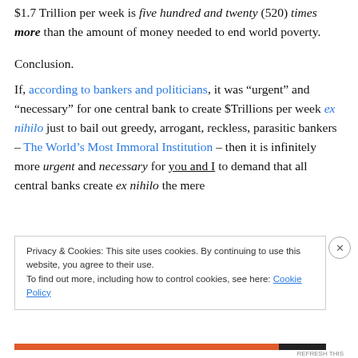$1.7 Trillion per week is five hundred and twenty (520) times more than the amount of money needed to end world poverty.
Conclusion.
If, according to bankers and politicians, it was “urgent” and “necessary” for one central bank to create $Trillions per week ex nihilo just to bail out greedy, arrogant, reckless, parasitic bankers – The World’s Most Immoral Institution – then it is infinitely more urgent and necessary for you and I to demand that all central banks create ex nihilo the mere
Privacy & Cookies: This site uses cookies. By continuing to use this website, you agree to their use.
To find out more, including how to control cookies, see here: Cookie Policy